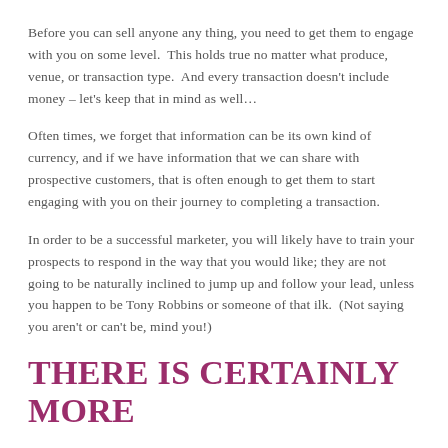Before you can sell anyone any thing, you need to get them to engage with you on some level.  This holds true no matter what produce, venue, or transaction type.  And every transaction doesn't include money – let's keep that in mind as well…
Often times, we forget that information can be its own kind of currency, and if we have information that we can share with prospective customers, that is often enough to get them to start engaging with you on their journey to completing a transaction.
In order to be a successful marketer, you will likely have to train your prospects to respond in the way that you would like; they are not going to be naturally inclined to jump up and follow your lead, unless you happen to be Tony Robbins or someone of that ilk.  (Not saying you aren't or can't be, mind you!)
THERE IS CERTAINLY MORE